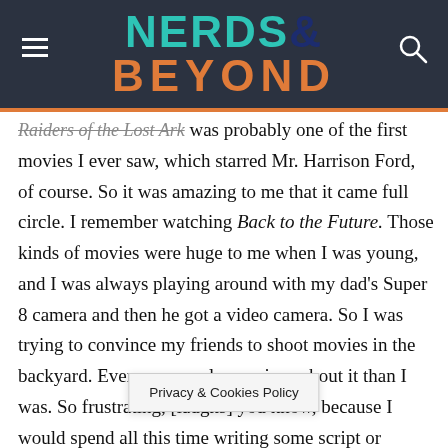NERDS& BEYOND
Raiders of the Lost Ark was probably one of the first movies I ever saw, which starred Mr. Harrison Ford, of course. So it was amazing to me that it came full circle. I remember watching Back to the Future. Those kinds of movies were huge to me when I was young, and I was always playing around with my dad's Super 8 camera and then he got a video camera. So I was trying to convince my friends to shoot movies in the backyard. Everyone was less serious about it than I was. So frustrating, [laughs] you know, because I would spend all this time writing some script or some... think it's the greatest thing... it right
Privacy & Cookies Policy